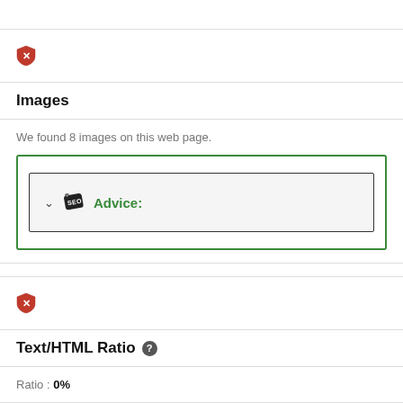[Figure (illustration): Red shield with white X icon]
Images
We found 8 images on this web page.
[Figure (screenshot): Green-bordered box containing a collapsed advice panel with SEO tag icon and 'Advice:' label in green text]
[Figure (illustration): Red shield with white X icon]
Text/HTML Ratio
Ratio : 0%